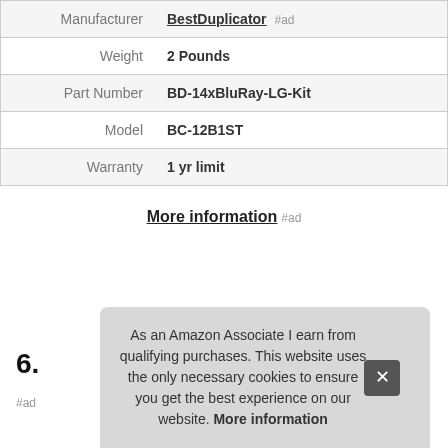|  |  |
| --- | --- |
| Manufacturer | BestDuplicator #ad |
| Weight | 2 Pounds |
| Part Number | BD-14xBluRay-LG-Kit |
| Model | BC-12B1ST |
| Warranty | 1 yr limit |
More information #ad
6. PIONEER
#ad
As an Amazon Associate I earn from qualifying purchases. This website uses the only necessary cookies to ensure you get the best experience on our website. More information